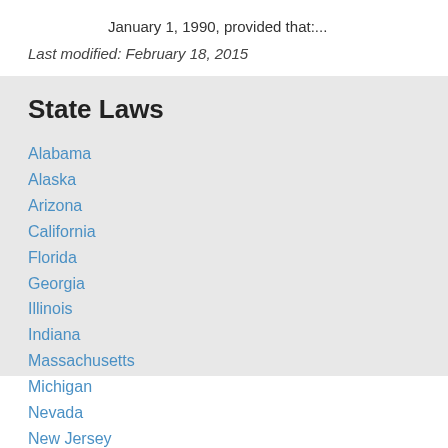January 1, 1990, provided that:...
Last modified: February 18, 2015
State Laws
Alabama
Alaska
Arizona
California
Florida
Georgia
Illinois
Indiana
Massachusetts
Michigan
Nevada
New Jersey
New York
North Carolina
Ohio
Oregon